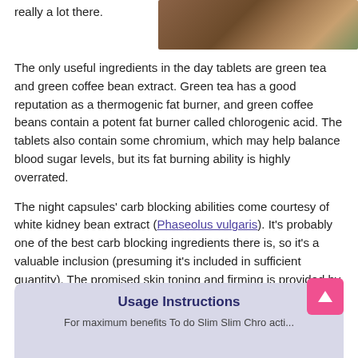really a lot there.
[Figure (photo): A jar or container with supplements/coffee beans on a wooden surface, warm brown tones]
The only useful ingredients in the day tablets are green tea and green coffee bean extract. Green tea has a good reputation as a thermogenic fat burner, and green coffee beans contain a potent fat burner called chlorogenic acid. The tablets also contain some chromium, which may help balance blood sugar levels, but its fat burning ability is highly overrated.
The night capsules' carb blocking abilities come courtesy of white kidney bean extract (Phaseolus vulgaris). It's probably one of the best carb blocking ingredients there is, so it's a valuable inclusion (presuming it's included in sufficient quantity). The promised skin toning and firming is provided by the proprietary blend Oxylia Total.
Usage Instructions
For maximum benefits To do Slim Shape continuation...